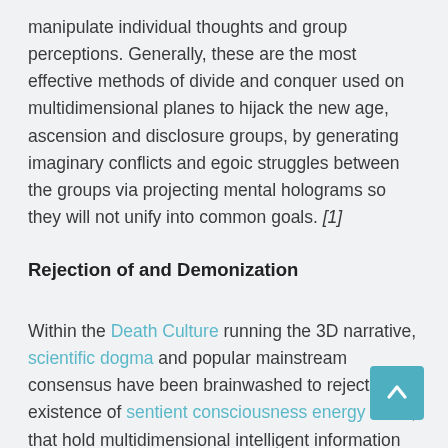manipulate individual thoughts and group perceptions. Generally, these are the most effective methods of divide and conquer used on multidimensional planes to hijack the new age, ascension and disclosure groups, by generating imaginary conflicts and egoic struggles between the groups via projecting mental holograms so they will not unify into common goals. [1]
Rejection of and Demonization
Within the Death Culture running the 3D narrative, scientific dogma and popular mainstream consensus have been brainwashed to reject all existence of sentient consciousness energy fields, that hold multidimensional intelligent information about every aspect of humanity's star origin, and